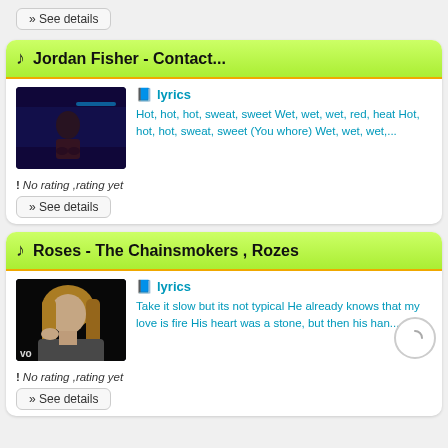» See details
Jordan Fisher - Contact...
lyrics
Hot, hot, hot, sweat, sweet Wet, wet, wet, red, heat Hot, hot, hot, sweat, sweet (You whore) Wet, wet, wet,...
No rating ,rating yet
» See details
Roses - The Chainsmokers , Rozes
lyrics
Take it slow but its not typical He already knows that my love is fire His heart was a stone, but then his han...
No rating ,rating yet
» See details